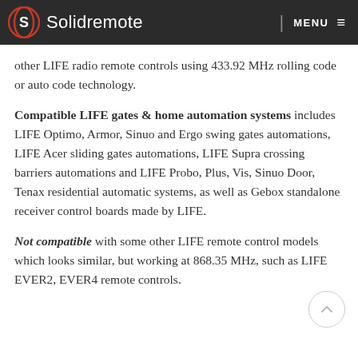Solidremote | MENU
other LIFE radio remote controls using 433.92 MHz rolling code or auto code technology.
Compatible LIFE gates & home automation systems includes LIFE Optimo, Armor, Sinuo and Ergo swing gates automations, LIFE Acer sliding gates automations, LIFE Supra crossing barriers automations and LIFE Probo, Plus, Vis, Sinuo Door, Tenax residential automatic systems, as well as Gebox standalone receiver control boards made by LIFE.
Not compatible with some other LIFE remote control models which looks similar, but working at 868.35 MHz, such as LIFE EVER2, EVER4 remote controls.